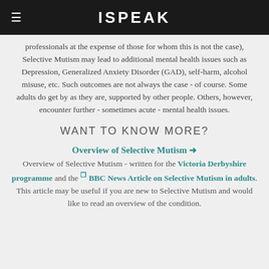ISPEAK
professionals at the expense of those for whom this is not the case), Selective Mutism may lead to additional mental health issues such as Depression, Generalized Anxiety Disorder (GAD), self-harm, alcohol misuse, etc. Such outcomes are not always the case - of course. Some adults do get by as they are, supported by other people. Others, however, encounter further - sometimes acute - mental health issues.
WANT TO KNOW MORE?
Overview of Selective Mutism →
Overview of Selective Mutism - written for the Victoria Derbyshire programme and the BBC News Article on Selective Mutism in adults. This article may be useful if you are new to Selective Mutism and would like to read an overview of the condition.